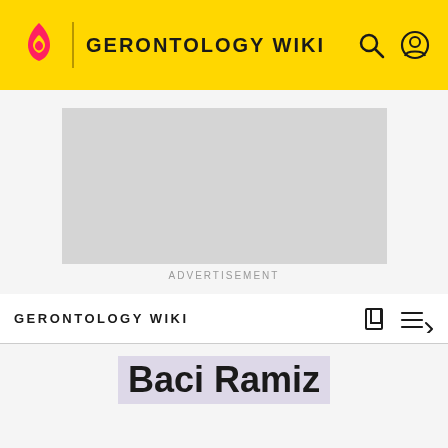GERONTOLOGY WIKI
[Figure (other): Advertisement placeholder gray rectangle]
ADVERTISEMENT
GERONTOLOGY WIKI
Baci Ramiz